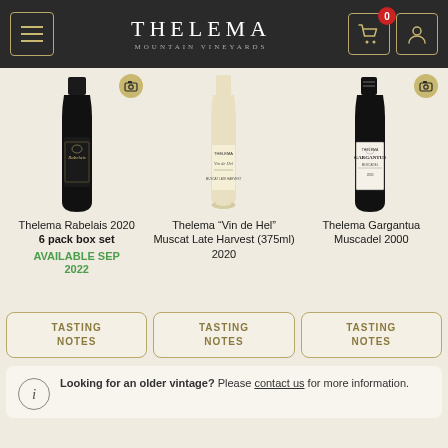THELEMA MOUNTAIN VINEYARDS
[Figure (photo): Thelema Rabelais 2020 wine bottle - dark bottle with black label]
[Figure (photo): Thelema Vin de Hel Muscat Late Harvest 375ml 2020 wine bottle - clear/white wine bottle]
[Figure (photo): Thelema Gargantua Muscadel 2000 wine bottle - dark bottle with white label]
Thelema Rabelais 2020
6 pack box set
AVAILABLE SEP 2022
Thelema “Vin de Hel” Muscat Late Harvest (375ml) 2020
Thelema Gargantua Muscadel 2000
TASTING NOTES
TASTING NOTES
TASTING NOTES
Looking for an older vintage? Please contact us for more information.